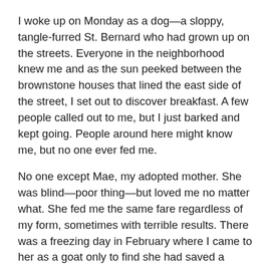I woke up on Monday as a dog—a sloppy, tangle-furred St. Bernard who had grown up on the streets. Everyone in the neighborhood knew me and as the sun peeked between the brownstone houses that lined the east side of the street, I set out to discover breakfast. A few people called out to me, but I just barked and kept going. People around here might know me, but no one ever fed me.
No one except Mae, my adopted mother. She was blind—poor thing—but loved me no matter what. She fed me the same fare regardless of my form, sometimes with terrible results. There was a freezing day in February where I came to her as a goat only to find she had saved a steak just for me, cooked to medium-rare perfection. It repulsed me and as much as it hurt me to reject it, I could not touch it.